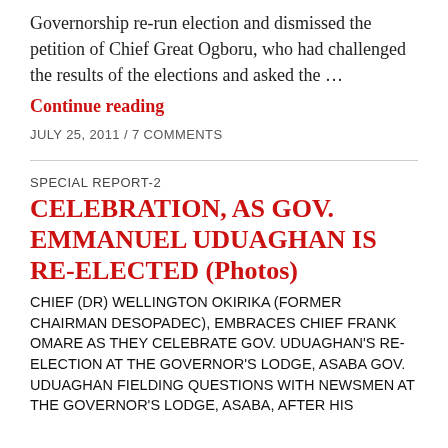Governorship re-run election and dismissed the petition of Chief Great Ogboru, who had challenged the results of the elections and asked the …
Continue reading
JULY 25, 2011 / 7 COMMENTS
SPECIAL REPORT-2
CELEBRATION, AS GOV. EMMANUEL UDUAGHAN IS RE-ELECTED (Photos)
CHIEF (DR) WELLINGTON OKIRIKA (FORMER CHAIRMAN DESOPADEC), EMBRACES CHIEF FRANK OMARE AS THEY CELEBRATE GOV. UDUAGHAN'S RE-ELECTION AT THE GOVERNOR'S LODGE, ASABA GOV. UDUAGHAN FIELDING QUESTIONS WITH NEWSMEN AT THE GOVERNOR'S LODGE, ASABA, AFTER HIS